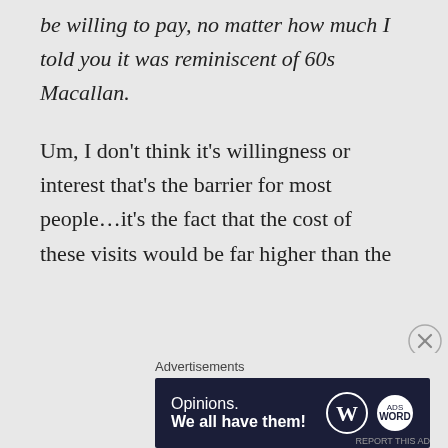be willing to pay, no matter how much I told you it was reminiscent of 60s Macallan.
Um, I don’t think it’s willingness or interest that’s the barrier for most people…it’s the fact that the cost of these visits would be far higher than the
Advertisements
[Figure (other): WordPress advertisement banner: 'Opinions. We all have them!' with WordPress W logo and another circular logo on dark navy background]